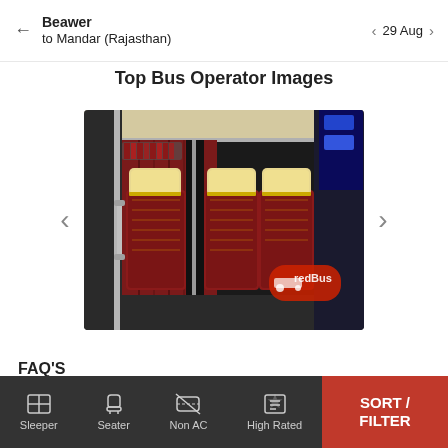Beawer to Mandar (Rajasthan) ← 29 Aug →
Top Bus Operator Images
[Figure (photo): Interior of a bus showing red patterned seats with cream/yellow headrests, chrome railings, and a redBus logo watermark in the bottom right corner.]
FAQ'S
Sleeper | Seater | Non AC | High Rated | SORT / FILTER